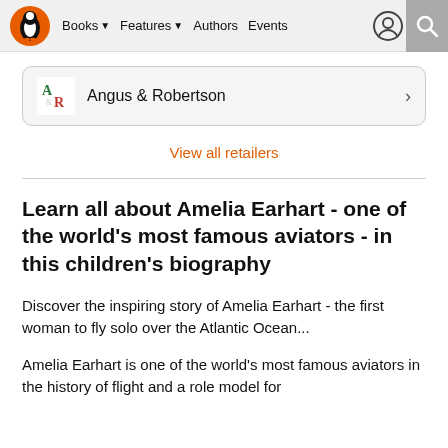Books  Features  Authors  Events
Angus & Robertson
View all retailers
Learn all about Amelia Earhart - one of the world's most famous aviators - in this children's biography
Discover the inspiring story of Amelia Earhart - the first woman to fly solo over the Atlantic Ocean...
Amelia Earhart is one of the world's most famous aviators in the history of flight and a role model for